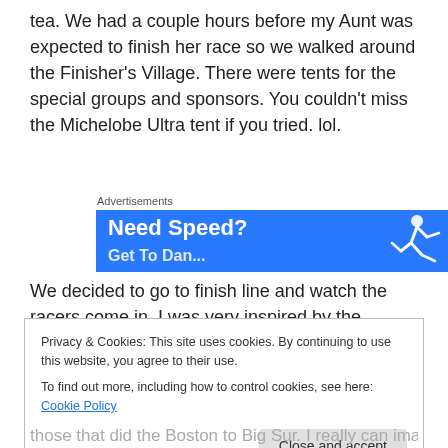tea. We had a couple hours before my Aunt was expected to finish her race so we walked around the Finisher's Village. There were tents for the special groups and sponsors. You couldn't miss the Michelobe Ultra tent if you tried. lol.
[Figure (infographic): Blue advertisement banner labeled 'Advertisements' showing 'Need Speed?' text in bold white with a figure of a person running/jumping on the right side.]
We decided to go to finish line and watch the racers come in. I was very inspired by the marathoners crossing the those that did the Boston to Big Sur. I really can imagine
Privacy & Cookies: This site uses cookies. By continuing to use this website, you agree to their use.
To find out more, including how to control cookies, see here: Cookie Policy
Close and accept